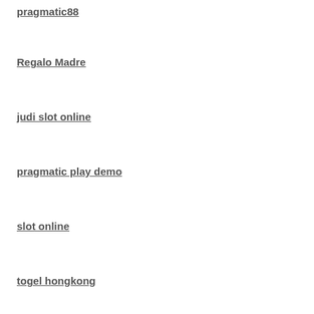pragmatic88
Regalo Madre
judi slot online
pragmatic play demo
slot online
togel hongkong